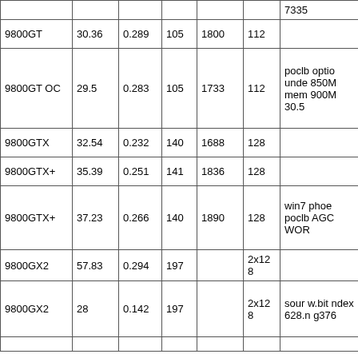|  |  |  |  |  |  |  |
| --- | --- | --- | --- | --- | --- | --- |
|  |  |  |  |  |  | 7335 |
| 9800GT | 30.36 | 0.289 | 105 | 1800 | 112 |  |
| 9800GT OC | 29.5 | 0.283 | 105 | 1733 | 112 | poclb optio unde 850M mem 900M 30.5 |
| 9800GTX | 32.54 | 0.232 | 140 | 1688 | 128 |  |
| 9800GTX+ | 35.39 | 0.251 | 141 | 1836 | 128 |  |
| 9800GTX+ | 37.23 | 0.266 | 140 | 1890 | 128 | win7 phoe poclb AGC WOR |
| 9800GX2 | 57.83 | 0.294 | 197 |  | 2x128 |  |
| 9800GX2 | 28 | 0.142 | 197 |  | 2x128 | sour w.bit ndex 628.n g376 |
|  |  |  |  |  |  |  |